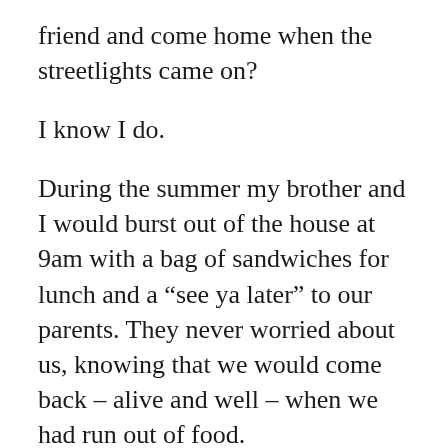friend and come home when the streetlights came on?
I know I do.
During the summer my brother and I would burst out of the house at 9am with a bag of sandwiches for lunch and a “see ya later” to our parents. They never worried about us, knowing that we would come back – alive and well – when we had run out of food.
I love those memories! I think of those as